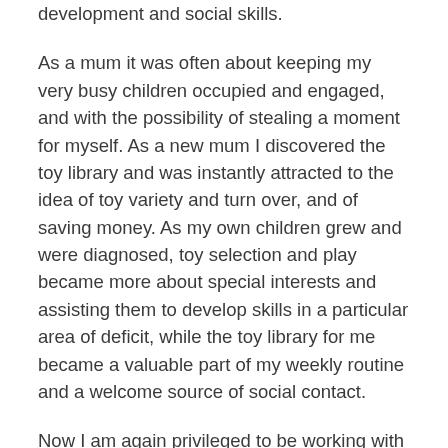development and social skills.
As a mum it was often about keeping my very busy children occupied and engaged, and with the possibility of stealing a moment for myself. As a new mum I discovered the toy library and was instantly attracted to the idea of toy variety and turn over, and of saving money. As my own children grew and were diagnosed, toy selection and play became more about special interests and assisting them to develop skills in a particular area of deficit, while the toy library for me became a valuable part of my weekly routine and a welcome source of social contact.
Now I am again privileged to be working with other people's children, this time from a therapeutic perspective. In the work I do I feel I can draw on my own experience as an early childhood educator, my